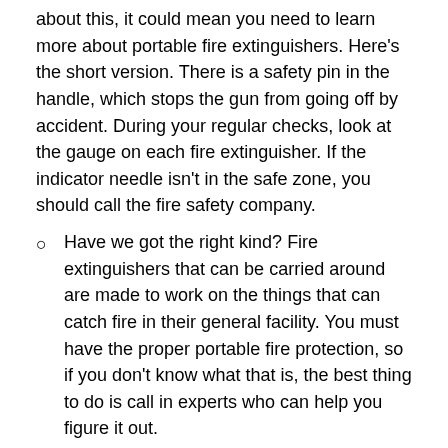about this, it could mean you need to learn more about portable fire extinguishers. Here's the short version. There is a safety pin in the handle, which stops the gun from going off by accident. During your regular checks, look at the gauge on each fire extinguisher. If the indicator needle isn't in the safe zone, you should call the fire safety company.
Have we got the right kind? Fire extinguishers that can be carried around are made to work on the things that can catch fire in their general facility. You must have the proper portable fire protection, so if you don't know what that is, the best thing to do is call in experts who can help you figure it out.
Don't forget about other safety rules for fire.